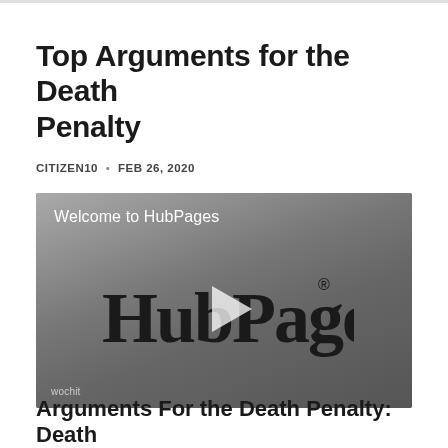Top Arguments for the Death Penalty
CITIZEN10 • FEB 26, 2020
[Figure (screenshot): Video player showing HubPages welcome video with HubPages logo and play button, 'wochit' watermark in lower left]
Arguments For the Death Penalty: Death